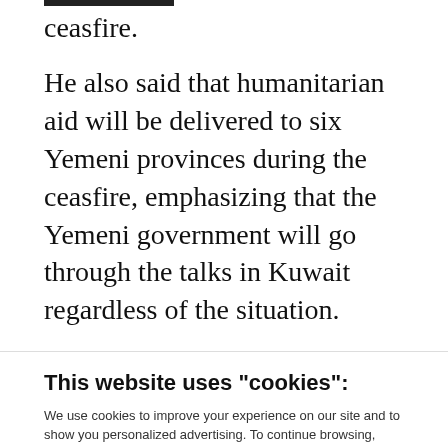ceasfire.
He also said that humanitarian aid will be delivered to six Yemeni provinces during the ceasfire, emphasizing that the Yemeni government will go through the talks in Kuwait regardless of the situation.
This website uses "cookies":
We use cookies to improve your experience on our site and to show you personalized advertising. To continue browsing, please click 'OK, I Accept'.
For more information, please read our Privacy Policy
Ok, I Accept